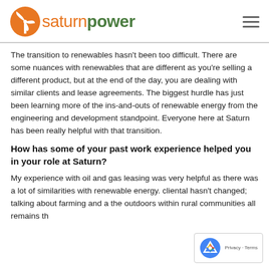saturnpower
The transition to renewables hasn't been too difficult. There are some nuances with renewables that are different as you're selling a different product, but at the end of the day, you are dealing with similar clients and lease agreements. The biggest hurdle has just been learning more of the ins-and-outs of renewable energy from the engineering and development standpoint. Everyone here at Saturn has been really helpful with that transition.
How has some of your past work experience helped you in your role at Saturn?
My experience with oil and gas leasing was very helpful as there was a lot of similarities with renewable energy. cliental hasn't changed; talking about farming and a the outdoors within rural communities all remains th